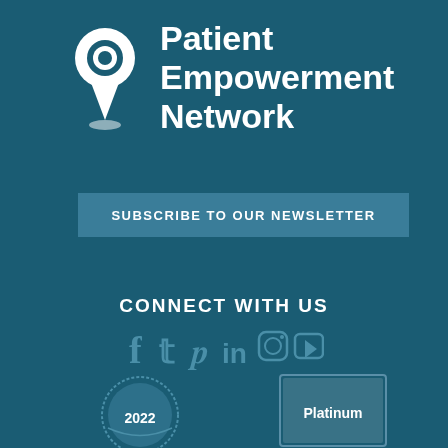[Figure (logo): Patient Empowerment Network logo with location pin icon and text]
SUBSCRIBE TO OUR NEWSLETTER
CONNECT WITH US
[Figure (illustration): Social media icons: Facebook, Twitter, Pinterest, LinkedIn, Instagram, YouTube]
[Figure (illustration): 2022 badge seal at bottom left]
[Figure (illustration): Platinum badge/seal at bottom right]